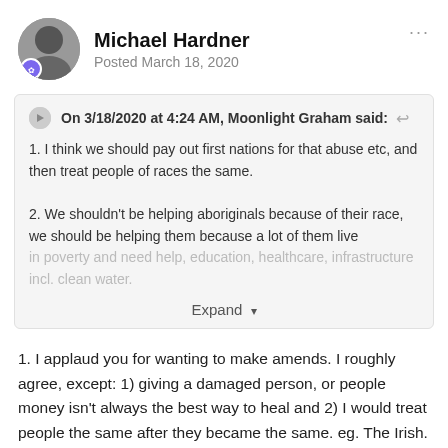Michael Hardner
Posted March 18, 2020
On 3/18/2020 at 4:24 AM, Moonlight Graham said:
1. I think we should pay out first nations for that abuse etc, and then treat people of races the same.

2. We shouldn't be helping aboriginals because of their race, we should be helping them because a lot of them live in poverty and need help, education, healthcare, infrastructure incl. clean water.
Expand
1. I applaud you for wanting to make amends.  I roughly agree, except: 1) giving a damaged person, or people money isn't always the best way to heal and 2) I would treat people the same after they became the same.  eg. The Irish.  Go ahead and make an Irish joke anywhere today.  No one will report you to HR.